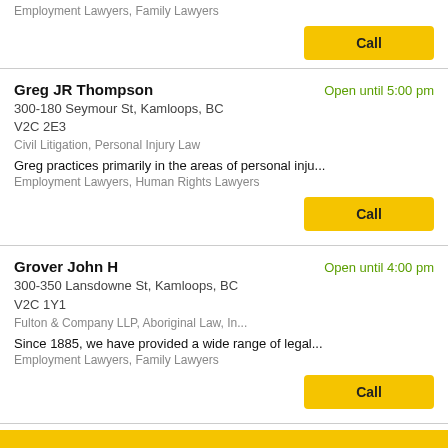Employment Lawyers, Family Lawyers
Call
Greg JR Thompson
Open until 5:00 pm
300-180 Seymour St, Kamloops, BC
V2C 2E3
Civil Litigation, Personal Injury Law
Greg practices primarily in the areas of personal inju...
Employment Lawyers, Human Rights Lawyers
Call
Grover John H
Open until 4:00 pm
300-350 Lansdowne St, Kamloops, BC
V2C 1Y1
Fulton & Company LLP, Aboriginal Law, In...
Since 1885, we have provided a wide range of legal...
Employment Lawyers, Family Lawyers
Call